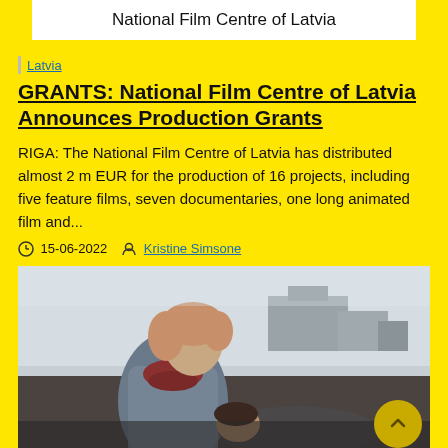National Film Centre of Latvia
Latvia
GRANTS: National Film Centre of Latvia Announces Production Grants
RIGA: The National Film Centre of Latvia has distributed almost 2 m EUR for the production of 16 projects, including five feature films, seven documentaries, one long animated film and...
15-06-2022   Kristine Simsone
[Figure (photo): Two people in an outdoor scene in winter clothing; one person appears to be leaning over another lying down, with an industrial background]